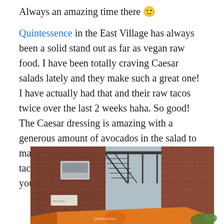Always an amazing time there 🙂
Quintessence in the East Village has always been a solid stand out as far as vegan raw food. I have been totally craving Caesar salads lately and they make such a great one! I have actually had that and their raw tacos twice over the last 2 weeks haha. So good! The Caesar dressing is amazing with a generous amount of avocados in the salad to make for salad perfection! YUM! Plus the tacos are just super awesome too. I love that you can order just one.
[Figure (photo): Street-level photograph of a brick building exterior with fire escape, air conditioning unit, and an orange awning/signage at the bottom, likely the exterior of the Quintessence restaurant.]